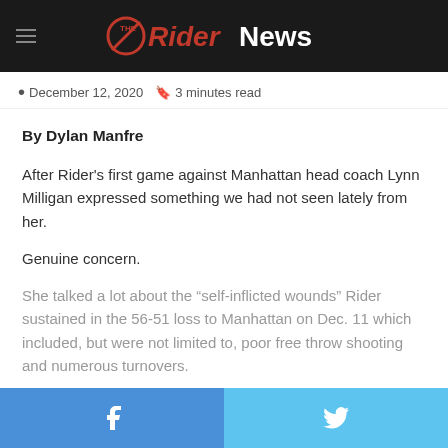The Rider News
December 12, 2020  3 minutes read
By Dylan Manfre
After Rider's first game against Manhattan head coach Lynn Milligan expressed something we had not seen lately from her.
Genuine concern.
She talked a lot about the “self-inflicted wounds” Rider sustained in the 56-51 loss to Manhattan on Dec. 11 which included, but were not limited to, poor free throw shooting and numerous turnovers.